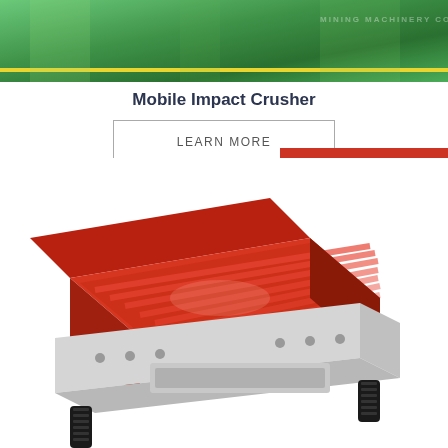[Figure (photo): Top banner with green industrial background showing what appears to be a conveyor or belt system with yellow stripe]
Mobile Impact Crusher
LEARN MORE
[Figure (photo): Customer service representative wearing headset with 24Hrs Online banner, smiling woman in white]
Need questions & suggestion?
Chat Now
[Figure (photo): Red and white vibrating feeder industrial machine with spring isolators and ribbed feeding surface]